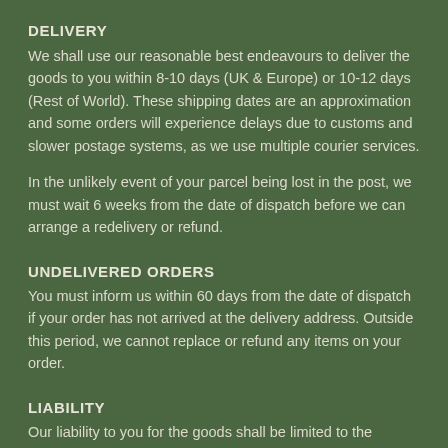DELIVERY
We shall use our reasonable best endeavours to deliver the goods to you within 8-10 days (UK & Europe) or 10-12 days (Rest of World). These shipping dates are an approximation and some orders will experience delays due to customs and slower postage systems, as we use multiple courier services.
In the unlikely event of your parcel being lost in the post, we must wait 6 weeks from the date of dispatch before we can arrange a redelivery or refund.
UNDELIVERED ORDERS
You must inform us within 60 days from the date of dispatch if your order has not arrived at the delivery address. Outside this period, we cannot replace or refund any items on your order.
LIABILITY
Our liability to you for the goods shall be limited to the purchase price of the goods.